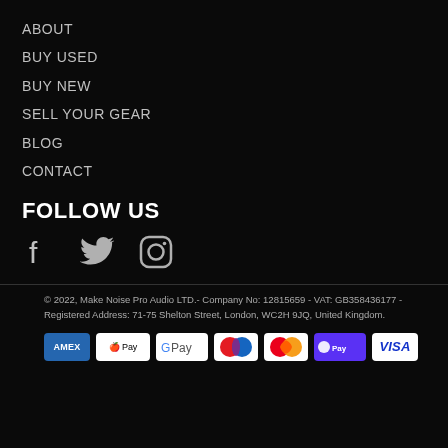ABOUT
BUY USED
BUY NEW
SELL YOUR GEAR
BLOG
CONTACT
FOLLOW US
[Figure (illustration): Social media icons: Facebook, Twitter, Instagram]
© 2022, Make Noise Pro Audio LTD.- Company No: 12815659 - VAT: GB358436177 - Registered Address: 71-75 Shelton Street, London, WC2H 9JQ, United Kingdom.
[Figure (infographic): Payment method badges: AMEX, Apple Pay, Google Pay, Maestro, Mastercard, Shop Pay, Visa]